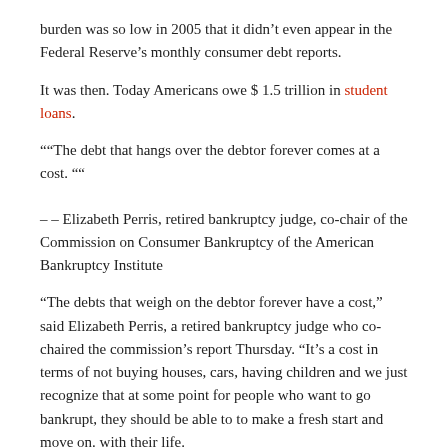burden was so low in 2005 that it didn’t even appear in the Federal Reserve’s monthly consumer debt reports.
It was then. Today Americans owe $ 1.5 trillion in student loans.
““The debt that hangs over the debtor forever comes at a cost. ““
– – Elizabeth Perris, retired bankruptcy judge, co-chair of the Commission on Consumer Bankruptcy of the American Bankruptcy Institute
“The debts that weigh on the debtor forever have a cost,” said Elizabeth Perris, a retired bankruptcy judge who co-chaired the commission’s report Thursday. “It’s a cost in terms of not buying houses, cars, having children and we just recognize that at some point for people who want to go bankrupt, they should be able to to make a fresh start and move on. with their life.